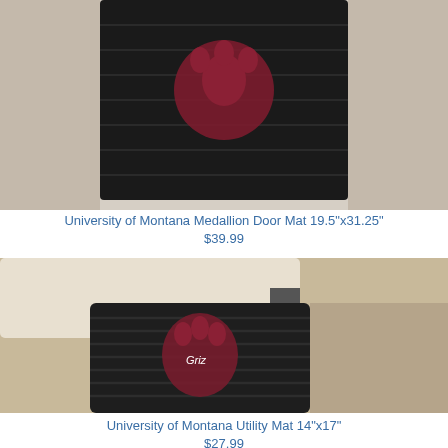[Figure (photo): University of Montana Medallion Door Mat shown on stone surface, black rubber mat with maroon and grey design]
University of Montana Medallion Door Mat 19.5"x31.25"
$39.99
[Figure (photo): University of Montana Utility Mat shown in car footwell area, black rubber mat with maroon Griz bear claw logo]
University of Montana Utility Mat 14"x17"
$27.99